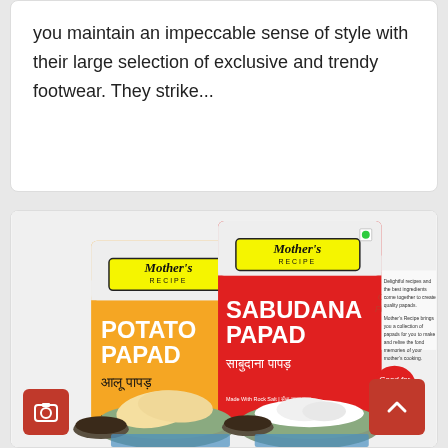you maintain an impeccable sense of style with their large selection of exclusive and trendy footwear. They strike...
[Figure (photo): Mother's Recipe product packaging photo showing Potato Papad (yellow packaging) and Sabudana Papad (red packaging) with bowls of food items and dipping sauce]